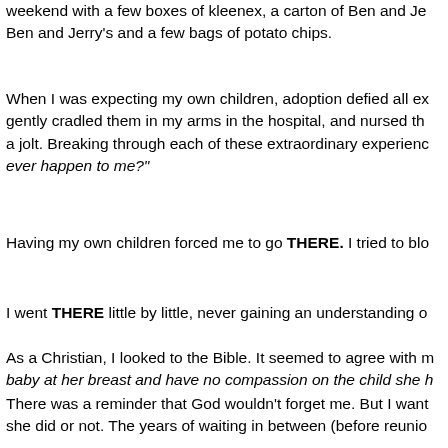weekend with a few boxes of kleenex, a carton of Ben and Je... Ben and Jerry's and a few bags of potato chips.
When I was expecting my own children, adoption defied all ex... gently cradled them in my arms in the hospital, and nursed the... a jolt. Breaking through each of these extraordinary experienc... ever happen to me?"
Having my own children forced me to go THERE. I tried to blo...
I went THERE little by little, never gaining an understanding o...
As a Christian, I looked to the Bible. It seemed to agree with m... baby at her breast and have no compassion on the child she h...
There was a reminder that God wouldn't forget me. But I want... she did or not. The years of waiting in between (before reunio...
I thought, "there has to be something more to this..." Women j... is not will, may is not absolute, may is not definite.